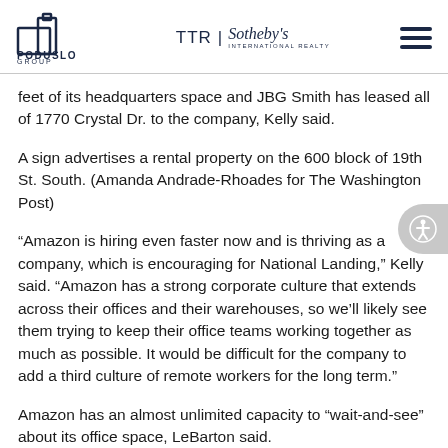PODUSLO GROUP | TTR Sotheby's International Realty
feet of its headquarters space and JBG Smith has leased all of 1770 Crystal Dr. to the company, Kelly said.
A sign advertises a rental property on the 600 block of 19th St. South. (Amanda Andrade-Rhoades for The Washington Post)
“Amazon is hiring even faster now and is thriving as a company, which is encouraging for National Landing,” Kelly said. “Amazon has a strong corporate culture that extends across their offices and their warehouses, so we’ll likely see them trying to keep their office teams working together as much as possible. It would be difficult for the company to add a third culture of remote workers for the long term.”
Amazon has an almost unlimited capacity to “wait-and-see” about its office space, LeBarton said.
“The overwhelming focus of amazon’s corporate real estate...